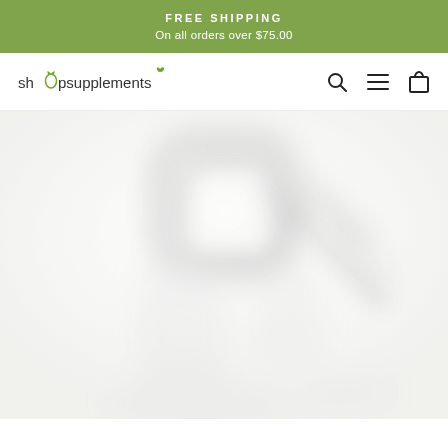FREE SHIPPING
On all orders over $75.00
[Figure (logo): shopsupplements logo with green leaf icon replacing the 'o' in shop]
[Figure (screenshot): Navigation bar icons: search magnifying glass, hamburger menu, shopping bag]
[Figure (photo): Blurry close-up photo of a supplement/sports nutrition product or equipment, appears to be a carabiner or kettle bell with handle, heavily blurred white and grey tones]